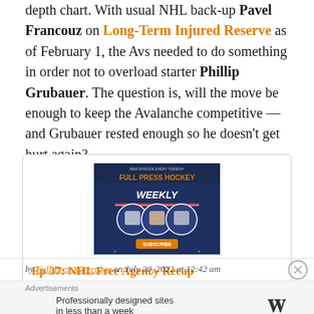depth chart. With usual NHL back-up Pavel Francouz on Long-Term Injured Reserve as of February 1, the Avs needed to do something in order not to overload starter Phillip Grubauer. The question is, will the move be enough to keep the Avalanche competitive — and Grubauer rested enough so he doesn't get hurt again?
[Figure (illustration): Full Press Hockey Weekly podcast promotional image showing three hosts and the show logo]
Ep 37: NHL Free Agency Recap
by Full Press Coverage on July 20, 2022 at 12:42 am
Advertisements
Professionally designed sites in less than a week